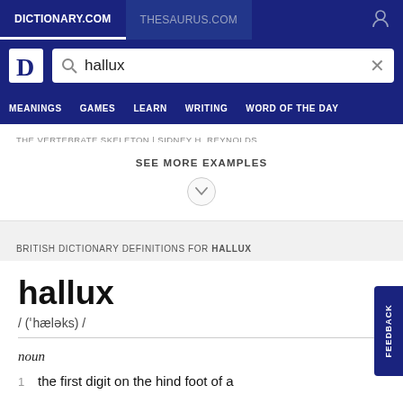DICTIONARY.COM | THESAURUS.COM
hallux (search query)
MEANINGS  GAMES  LEARN  WRITING  WORD OF THE DAY
THE VERTEBRATE SKELETON | SIDNEY H. REYNOLDS
SEE MORE EXAMPLES
BRITISH DICTIONARY DEFINITIONS FOR HALLUX
hallux
/ (ˈhæləks) /
noun
1  the first digit on the hind foot of a